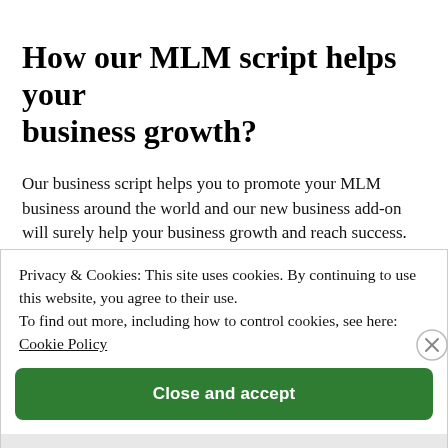How our MLM script helps your business growth?
Our business script helps you to promote your MLM business around the world and our new business add-on will surely help your business growth and reach success. We provide the most updated version of MLM Software script with more secure and user-friendly.
Privacy & Cookies: This site uses cookies. By continuing to use this website, you agree to their use.
To find out more, including how to control cookies, see here: Cookie Policy
Close and accept